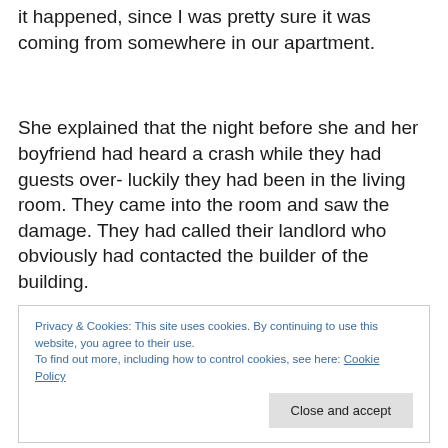it happened, since I was pretty sure it was coming from somewhere in our apartment.
She explained that the night before she and her boyfriend had heard a crash while they had guests over- luckily they had been in the living room. They came into the room and saw the damage. They had called their landlord who obviously had contacted the builder of the building.
Privacy & Cookies: This site uses cookies. By continuing to use this website, you agree to their use.
To find out more, including how to control cookies, see here: Cookie Policy
ceiling had collapsed.